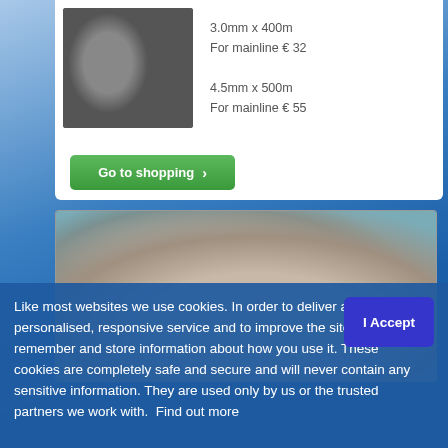3.0mm x 400m
For mainline € 32

4.5mm x 500m
For mainline € 55
[Figure (photo): Product photo showing spools of wire/fishing line]
Go to shopping ›
[Figure (photo): Underwater photo of what appears to be a marine animal (ray or shark) close-up]
Like most websites we use cookies. In order to deliver a personalised, responsive service and to improve the site, we remember and store information about how you use it. These cookies are completely safe and secure and will never contain any sensitive information. They are used only by us or the trusted partners we work with.  Find out more
I Accept